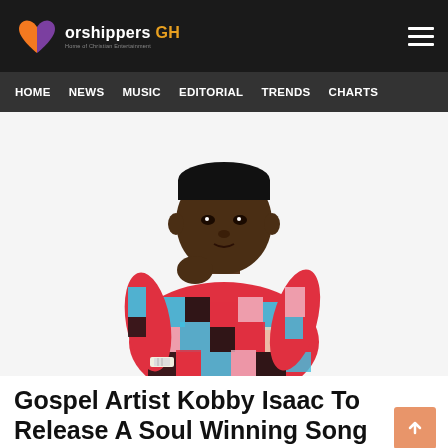Worshippers GH — Home of Christian Entertainment
[Figure (logo): WorshippersGH logo with heart icon in orange and purple, white text reading 'Worshippers GH', tagline 'Home of Christian Entertainment']
HOME  NEWS  MUSIC  EDITORIAL  TRENDS  CHARTS
[Figure (photo): Young African male gospel artist in a colorful geometric-patterned shirt (red, cyan, black, white), seated with chin resting on hand, wearing a watch, looking at camera against white background]
Gospel Artist Kobby Isaac To Release A Soul Winning Song